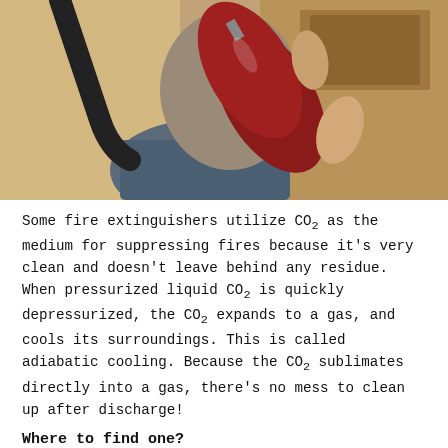[Figure (photo): Person sitting and holding a red CO2 fire extinguisher, with a black hose visible on the left, indoors with wooden furniture in background.]
Some fire extinguishers utilize CO2 as the medium for suppressing fires because it's very clean and doesn't leave behind any residue. When pressurized liquid CO2 is quickly depressurized, the CO2 expands to a gas, and cools its surroundings. This is called adiabatic cooling. Because the CO2 sublimates directly into a gas, there's no mess to clean up after discharge!
Where to find one?
I called around to some fire-equipment companies asking about CO2 fire extinguishers. I hadn't seen these types of extinguishers much and was looking for where I could buy one used, or rent one just for experimenting.